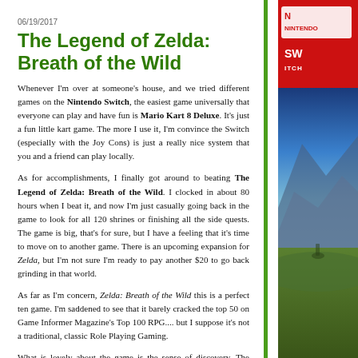06/19/2017
The Legend of Zelda: Breath of the Wild
Whenever I'm over at someone's house, and we tried different games on the Nintendo Switch, the easiest game universally that everyone can play and have fun is Mario Kart 8 Deluxe. It's just a fun little kart game. The more I use it, I'm convince the Switch (especially with the Joy Cons) is just a really nice system that you and a friend can play locally.
As for accomplishments, I finally got around to beating The Legend of Zelda: Breath of the Wild. I clocked in about 80 hours when I beat it, and now I'm just casually going back in the game to look for all 120 shrines or finishing all the side quests. The game is big, that's for sure, but I have a feeling that it's time to move on to another game. There is an upcoming expansion for Zelda, but I'm not sure I'm ready to pay another $20 to go back grinding in that world.
As far as I'm concern, Zelda: Breath of the Wild this is a perfect ten game. I'm saddened to see that it barely cracked the top 50 on Game Informer Magazine's Top 100 RPG.... but I suppose it's not a traditional, classic Role Playing Gaming.
What is lovely about the game is the sense of discovery. The game doesn't explain anything to you - and it's intentional - you just have to figure out some things on your own.
[Figure (photo): Nintendo Switch game box art image with red Nintendo Switch branding at top and Zelda: Breath of the Wild landscape imagery below]